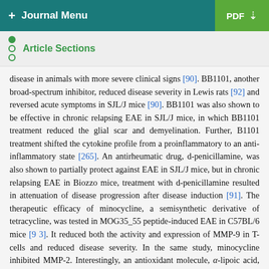+ Journal Menu   PDF ↓
Article Sections
disease in animals with more severe clinical signs [90]. BB1101, another broad-spectrum inhibitor, reduced disease severity in Lewis rats [92] and reversed acute symptoms in SJL/J mice [90]. BB1101 was also shown to be effective in chronic relapsing EAE in SJL/J mice, in which BB1101 treatment reduced the glial scar and demyelination. Further, B1101 treatment shifted the cytokine profile from a proinflammatory to an anti-inflammatory state [265]. An antirheumatic drug, d-penicillamine, was also shown to partially protect against EAE in SJL/J mice, but in chronic relapsing EAE in Biozzo mice, treatment with d-penicillamine resulted in attenuation of disease progression after disease induction [91]. The therapeutic efficacy of minocycline, a semisynthetic derivative of tetracycline, was tested in MOG35_55 peptide-induced EAE in C57BL/6 mice [93]. It reduced both the activity and expression of MMP-9 in T-cells and reduced disease severity. In the same study, minocycline inhibited MMP-2. Interestingly, an antioxidant molecule, α-lipoic acid, was found to be beneficial in